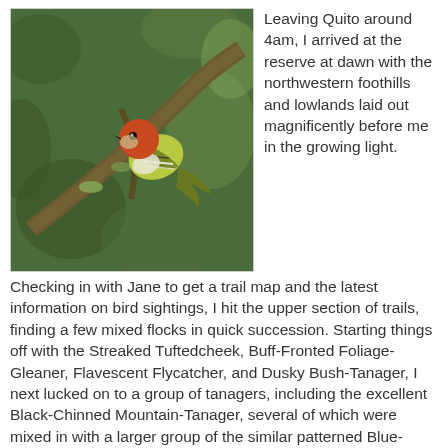[Figure (photo): A small bird with a rust-red cap, yellow-green body, and black-striped wings perched on a mossy branch in a green forest setting.]
Leaving Quito around 4am, I arrived at the reserve at dawn with the northwestern foothills and lowlands laid out magnificently before me in the growing light.
Checking in with Jane to get a trail map and the latest information on bird sightings, I hit the upper section of trails, finding a few mixed flocks in quick succession. Starting things off with the Streaked Tuftedcheek, Buff-Fronted Foliage-Gleaner, Flavescent Flycatcher, and Dusky Bush-Tanager, I next lucked on to a group of tanagers, including the excellent Black-Chinned Mountain-Tanager, several of which were mixed in with a larger group of the similar patterned Blue-Winged Mountain-Tanager. After picking up Plate-Billed Mountain-Toucan, Toucan Barbet, and Golden-Headed Quetzal, I moved down slope along the Puma Trail